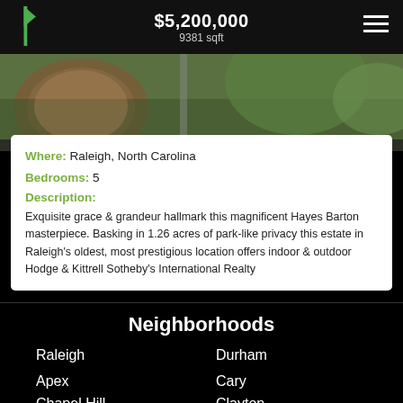$5,200,000 | 9381 sqft
[Figure (photo): Exterior property photo showing garden/landscaping area with brick pavement and green foliage]
Where: Raleigh, North Carolina
Bedrooms: 5
Description:
Exquisite grace & grandeur hallmark this magnificent Hayes Barton masterpiece. Basking in 1.26 acres of park-like privacy this estate in Raleigh's oldest, most prestigious location offers indoor & outdoor Hodge & Kittrell Sotheby's International Realty
Neighborhoods
Raleigh
Durham
Apex
Cary
Chapel Hill
Clayton